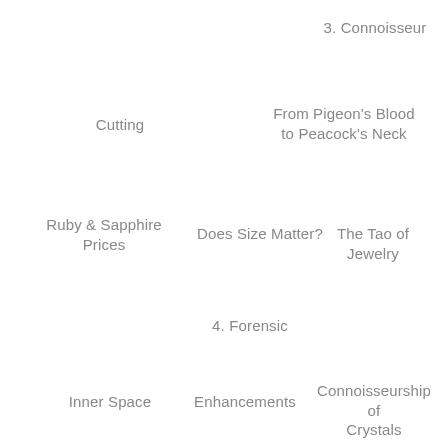3. Connoisseur
Cutting
From Pigeon's Blood to Peacock's Neck
Ruby & Sapphire Prices
Does Size Matter?
The Tao of Jewelry
4. Forensic
Inner Space
Enhancements
Connoisseurship of Crystals